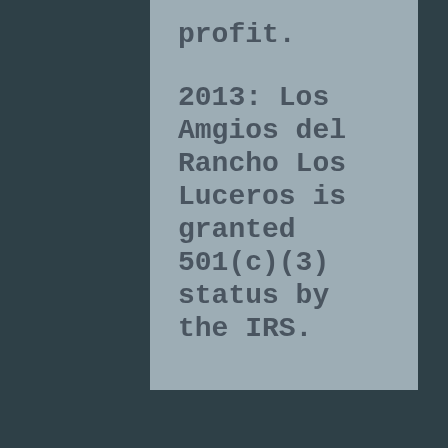profit.
2013: Los Amgios del Rancho Los Luceros is granted 501(c)(3) status by the IRS.